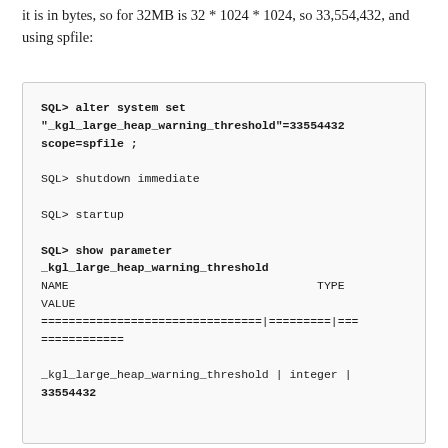it is in bytes, so for 32MB is 32 * 1024 * 1024, so 33,554,432, and using spfile:
SQL> alter system set
"_kgl_large_heap_warning_threshold"=33554432
scope=spfile ;

SQL> shutdown immediate

SQL> startup

SQL> show parameter _kgl_large_heap_warning_threshold
NAME                                TYPE
VALUE
================================|=========|===
============

_kgl_large_heap_warning_threshold | integer |
33554432